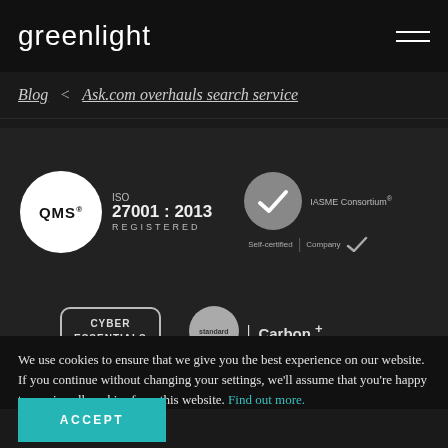greenlight
Blog < Ask.com overhauls search service
[Figure (logo): QMS ISO 27001:2013 Registered certification badge with white circle logo and IASME Consortium self-certified company badge]
[Figure (logo): Cyber Essentials badge and Standard Carbon+ badge]
We use cookies to ensure that we give you the best experience on our website. If you continue without changing your settings, we'll assume that you're happy to receive all cookies from this website. Find out more.
ACCEPT